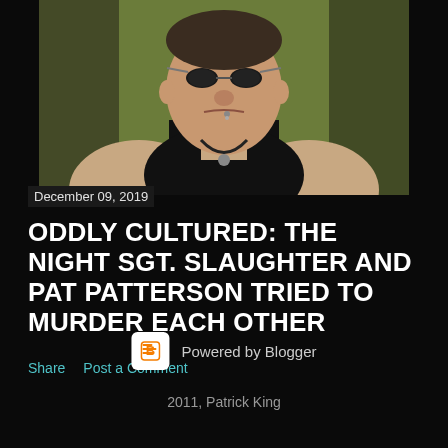[Figure (photo): A heavyset man in a black sleeveless shirt/tank top, wearing a necklace with a metal pendant, with a lip piercing, making an aggressive expression, photographed against a green/olive background.]
December 09, 2019
ODDLY CULTURED: THE NIGHT SGT. SLAUGHTER AND PAT PATTERSON TRIED TO MURDER EACH OTHER
Share    Post a Comment
Powered by Blogger
2011, Patrick King